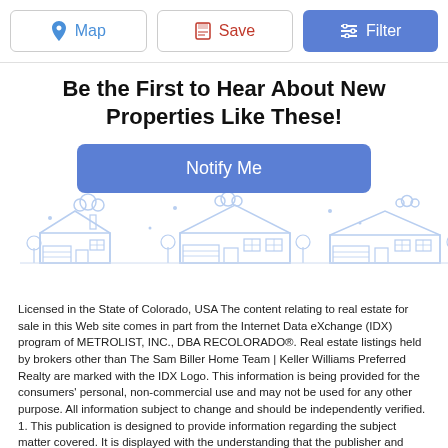[Figure (screenshot): Top toolbar with Map, Save, and Filter buttons]
Be the First to Hear About New Properties Like These!
[Figure (illustration): Blue outline illustration of suburban houses with clouds and dots decoration, and a Notify Me button]
Licensed in the State of Colorado, USA The content relating to real estate for sale in this Web site comes in part from the Internet Data eXchange (IDX) program of METROLIST, INC., DBA RECOLORADO®. Real estate listings held by brokers other than The Sam Biller Home Team | Keller Williams Preferred Realty are marked with the IDX Logo. This information is being provided for the consumers' personal, non-commercial use and may not be used for any other purpose. All information subject to change and should be independently verified. 1. This publication is designed to provide information regarding the subject matter covered. It is displayed with the understanding that the publisher and authors are not engaged in rendering real estate, legal, accounting, tax, or other professional services.